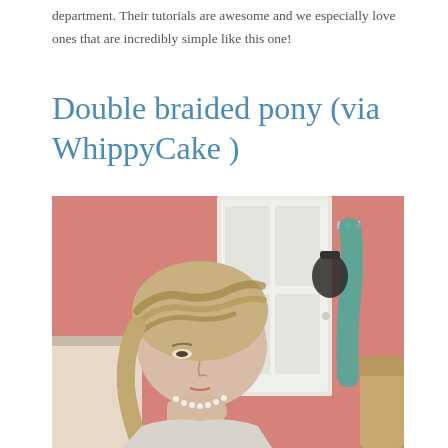department. Their tutorials are awesome and we especially love ones that are incredibly simple like this one!
Double braided pony (via WhippyCake )
[Figure (photo): A blonde woman with a double braided hairstyle shown from a side angle, with a pink wall, white door, and hanging bags/clothing in the background. She is resting her chin on her hand and wearing a pearl necklace.]